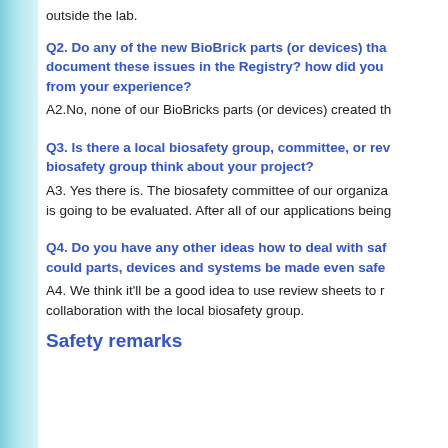outside the lab.
Q2. Do any of the new BioBrick parts (or devices) that you made this year work outside their intended design? Did you document these issues in the Registry? how did you document these issues? What is the insight from your experience?
A2.No, none of our BioBricks parts (or devices) created this year work outside their intended design.
Q3. Is there a local biosafety group, committee, or review board at your institution? If yes, what does your biosafety group think about your project?
A3. Yes there is. The biosafety committee of our organization is aware of our project, and our project is going to be evaluated. After all of our applications being filed, we are awaiting for the evaluation.
Q4. Do you have any other ideas how to deal with safety or security issues that could parts, devices and systems be made even safer through biosafety engineering?
A4. We think it'll be a good idea to use review sheets to make data collection easier, in collaboration with the local biosafety group.
Safety remarks